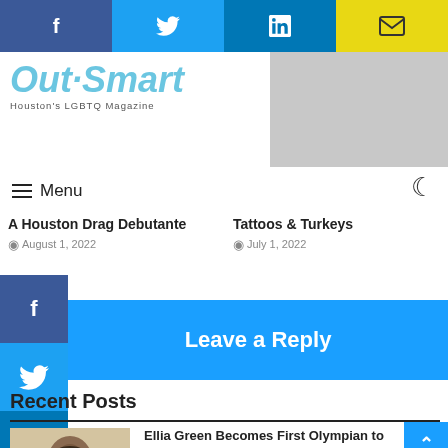[Figure (screenshot): Top social share bar with Facebook, Twitter, LinkedIn, and email/envelope buttons]
[Figure (logo): OutSmart Magazine logo - Houston's LGBTQ Magazine]
Menu
A Houston Drag Debutante
August 1, 2022
Tattoos & Turkeys
July 1, 2022
[Figure (screenshot): Left-side vertical social share buttons: Facebook, Twitter, LinkedIn]
Leave a Reply
Recent Posts
[Figure (photo): Photo of Ellia Green, a person with short dark curly hair wearing a white shirt]
Ellia Green Becomes First Olympian to Transition to a Man
August 17, 2022